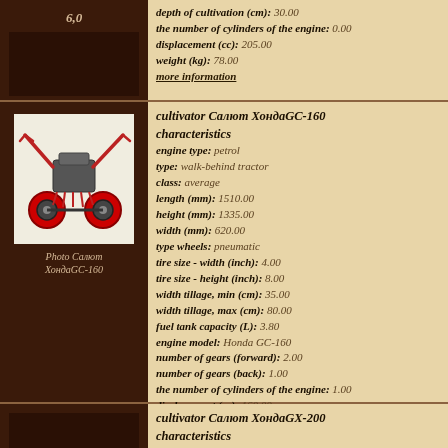6,0 | depth of cultivation (cm): 30.00 | the number of cylinders of the engine: 0.00 | displacement (cc): 205.00 | weight (kg): 78.00 | more information
[Figure (photo): Photo of cultivator Салют ХондаGC-160 walk-behind tractor with red wheels and handles]
Photo Салют ХондаGC-160
cultivator Салют ХондаGC-160 characteristics engine type: petrol type: walk-behind tractor class: average length (mm): 1510.00 height (mm): 1335.00 width (mm): 620.00 type wheels: pneumatic tire size - width (inch): 4.00 tire size - height (inch): 8.00 width tillage, min (cm): 35.00 width tillage, max (cm): 80.00 fuel tank capacity (L): 3.80 engine model: Honda GC-160 number of gears (forward): 2.00 number of gears (back): 1.00 the number of cylinders of the engine: 1.00 displacement (cc): 160.00 weight (kg): 85.00 more information
cultivator Салют ХондаGX-200 characteristics engine type: petrol